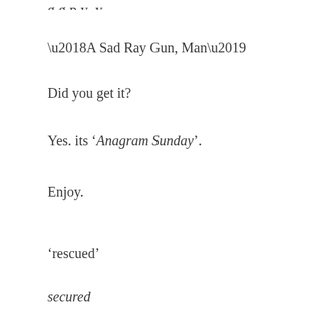g g p y y
‘A Sad Ray Gun, Man’
Did you get it?
Yes. its ‘Anagram Sunday’.
Enjoy.
‘rescued’
secured